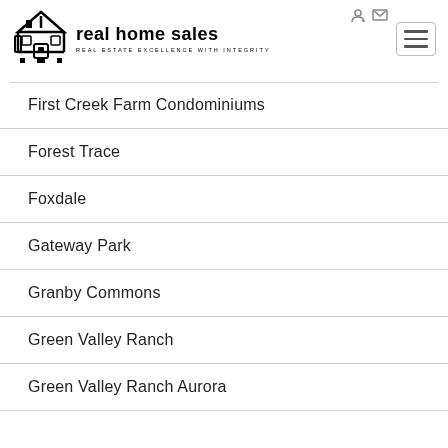real home sales — REAL ESTATE EXCELLENCE WITH INTEGRITY
First Creek Farm Condominiums
Forest Trace
Foxdale
Gateway Park
Granby Commons
Green Valley Ranch
Green Valley Ranch Aurora